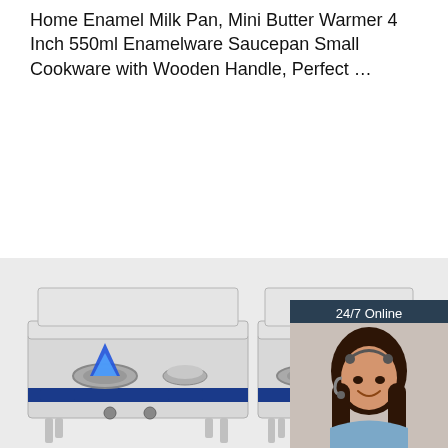Home Enamel Milk Pan, Mini Butter Warmer 4 Inch 550ml Enamelware Saucepan Small Cookware with Wooden Handle, Perfect …
[Figure (infographic): Orange 'Get Price' button on left; dark blue sidebar panel on right with '24/7 Online' text and a photo of a smiling woman with headset]
[Figure (photo): Two stainless steel commercial gas wok stoves with blue flames, shown on a light gray background. A 'TOP' badge with dotted red circle in the bottom right corner.]